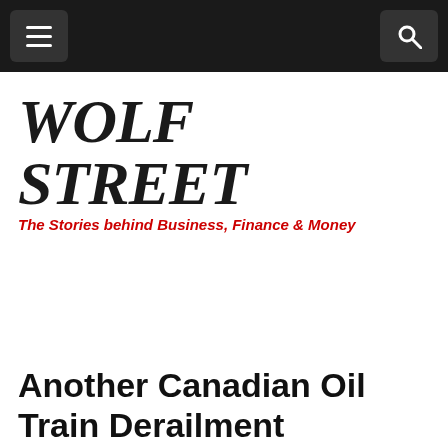Wolf Street navigation bar
[Figure (logo): Wolf Street logo with bold italic serif text 'WOLF STREET' and red subtitle 'The Stories behind Business, Finance & Money']
Another Canadian Oil Train Derailment Punctuates The Crude Transportation Debate
by Oilprice.com • Oct 22, 2013 • Comments Off